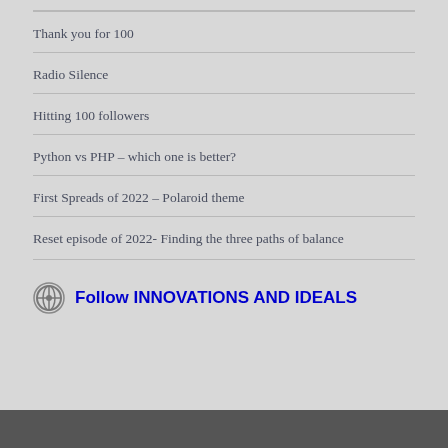Thank you for 100
Radio Silence
Hitting 100 followers
Python vs PHP – which one is better?
First Spreads of 2022 – Polaroid theme
Reset episode of 2022- Finding the three paths of balance
Follow INNOVATIONS AND IDEALS